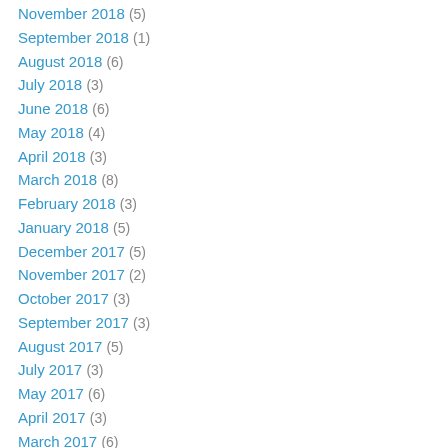November 2018 (5)
September 2018 (1)
August 2018 (6)
July 2018 (3)
June 2018 (6)
May 2018 (4)
April 2018 (3)
March 2018 (8)
February 2018 (3)
January 2018 (5)
December 2017 (5)
November 2017 (2)
October 2017 (3)
September 2017 (3)
August 2017 (5)
July 2017 (3)
May 2017 (6)
April 2017 (3)
March 2017 (6)
February 2017 (2)